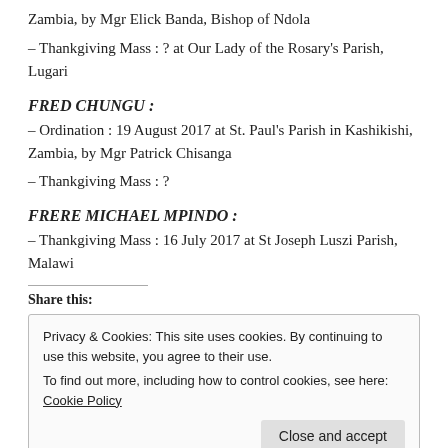Zambia, by Mgr Elick Banda, Bishop of Ndola
– Thankgiving Mass : ? at Our Lady of the Rosary's Parish, Lugari
FRED CHUNGU :
– Ordination : 19 August 2017 at St. Paul's Parish in Kashikishi, Zambia, by Mgr Patrick Chisanga
– Thankgiving Mass : ?
FRERE MICHAEL MPINDO :
– Thankgiving Mass : 16 July 2017 at St Joseph Luszi Parish, Malawi
Share this:
Privacy & Cookies: This site uses cookies. By continuing to use this website, you agree to their use.
To find out more, including how to control cookies, see here: Cookie Policy
Close and accept
Be the first to like this.